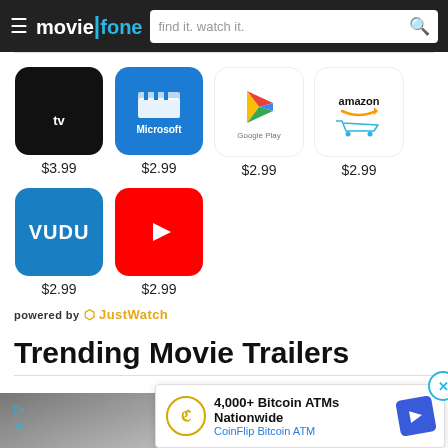moviefone — find it. watch it.
[Figure (infographic): Streaming provider icons with prices: Apple TV $3.99, Microsoft $2.99, Google Play $2.99, Amazon $2.99, VUDU $2.99, YouTube $2.99]
powered by JustWatch
Trending Movie Trailers
[Figure (screenshot): CoinFlip Bitcoin ATM advertisement banner: 4,000+ Bitcoin ATMs Nationwide]